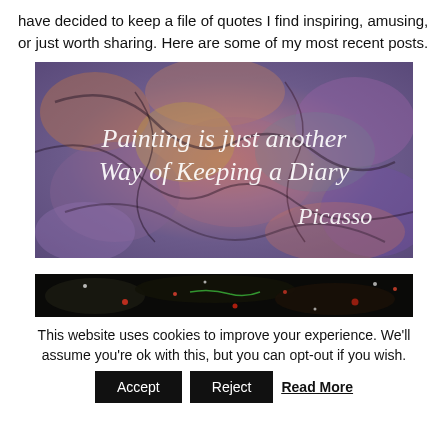have decided to keep a file of quotes I find inspiring, amusing, or just worth sharing. Here are some of my most recent posts.
[Figure (illustration): Colorful abstract painting with text overlay reading 'Painting is just another Way of Keeping a Diary' and 'Picasso' in italic white font on a textured multicolored background.]
[Figure (photo): Dark image with scattered colored dots and particles on a black background, partially cropped.]
This website uses cookies to improve your experience. We'll assume you're ok with this, but you can opt-out if you wish.
Accept   Reject   Read More